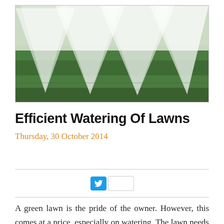[Figure (photo): Lawn sprinklers spraying water over green grass, multiple sprinkler heads visible creating overlapping fan-shaped mist patterns]
Efficient Watering Of Lawns
Thursday, 30 October 2014
[Figure (infographic): Twitter share button (blue) with share count box]
A green lawn is the pride of the owner. However, this comes at a price, especially on watering. The lawn needs to be given just enough water for its existent,